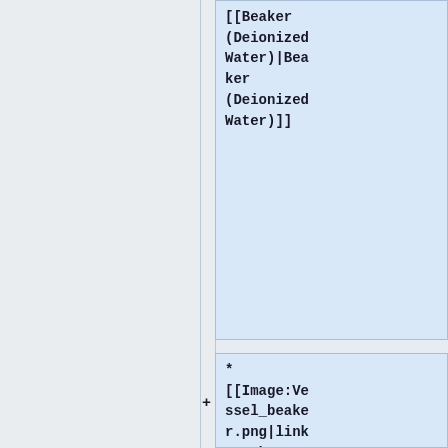[[Beaker (Deionized Water)|Beaker (Deionized Water)]]
* [[Image:Vessel_beaker.png|link=Beaker (Epichlorohydrin)|32px|alt=Beaker (Epichlorohydrin)| [[Beaker (Epichlorohydrin)|Beaker